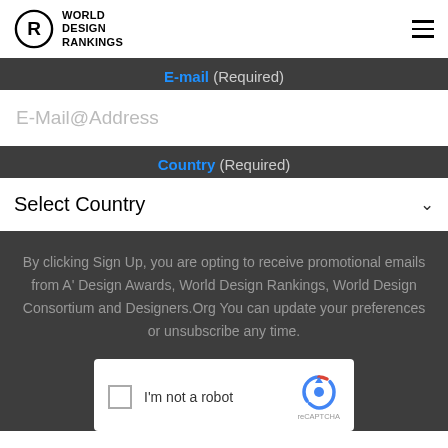[Figure (logo): World Design Rankings logo with circular R mark and text]
E-mail (Required)
E-Mail@Address
Country (Required)
Select Country
By clicking Sign Up, you are opting to receive promotional emails from A' Design Awards, World Design Rankings, World Design Consortium and Designers.Org You can update your preferences or unsubscribe any time.
[Figure (screenshot): reCAPTCHA checkbox widget with 'I'm not a robot' text and reCAPTCHA logo]